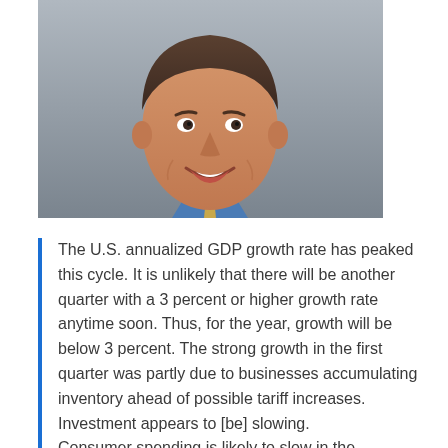[Figure (photo): Headshot of a middle-aged man smiling, wearing a dark suit jacket, blue dress shirt, and light gold/yellow tie, photographed against a neutral gray background.]
The U.S. annualized GDP growth rate has peaked this cycle. It is unlikely that there will be another quarter with a 3 percent or higher growth rate anytime soon. Thus, for the year, growth will be below 3 percent. The strong growth in the first quarter was partly due to businesses accumulating inventory ahead of possible tariff increases. Investment appears to [be] slowing. Consumer spending is likely to slow in the